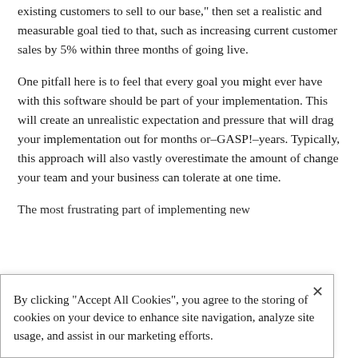existing customers to sell to our base," then set a realistic and measurable goal tied to that, such as increasing current customer sales by 5% within three months of going live.
One pitfall here is to feel that every goal you might ever have with this software should be part of your implementation. This will create an unrealistic expectation and pressure that will drag your implementation out for months or–GASP!–years. Typically, this approach will also vastly overestimate the amount of change your team and your business can tolerate at one time.
The most frustrating part of implementing new
By clicking "Accept All Cookies", you agree to the storing of cookies on your device to enhance site navigation, analyze site usage, and assist in our marketing efforts.